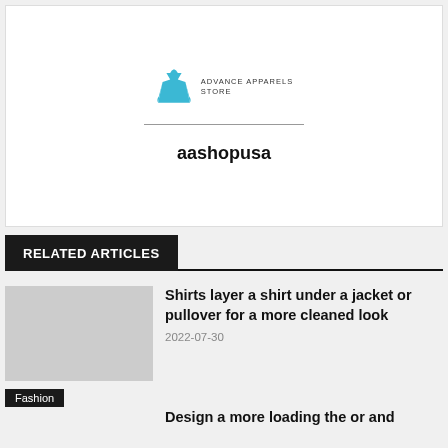[Figure (logo): Advance Apparel store logo with a blue dress icon and brand name text]
aashopusa
RELATED ARTICLES
Shirts layer a shirt under a jacket or pullover for a more cleaned look
2022-07-30
Fashion
Design a more loading the or and